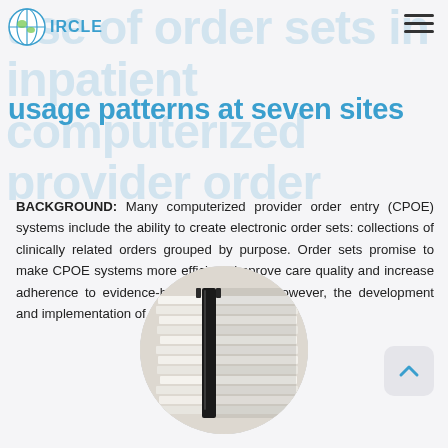CIRCLE
use of order sets in inpatient computerized provider order entry systems: a comparative analysis of usage patterns at seven sites
BACKGROUND: Many computerized provider order entry (CPOE) systems include the ability to create electronic order sets: collections of clinically related orders grouped by purpose. Order sets promise to make CPOE systems more efficient, improve care quality and increase adherence to evidence-based guidelines. However, the development and implementation of order sets [...]
[Figure (photo): Circular cropped photo of stacked files/documents with binder clips, viewed from the side]